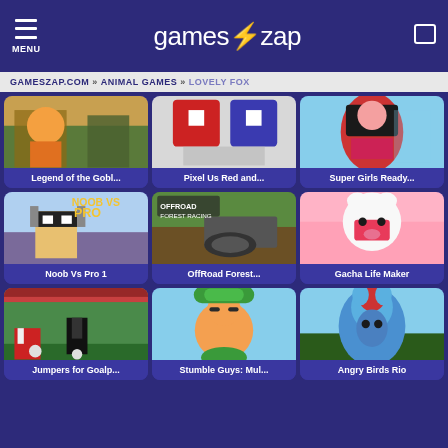MENU | gameszap | search
GAMESZAP.COM » ANIMAL GAMES » LOVELY FOX
[Figure (screenshot): Legend of the Gobl... game thumbnail]
[Figure (screenshot): Pixel Us Red and... game thumbnail]
[Figure (screenshot): Super Girls Ready... game thumbnail]
[Figure (screenshot): Noob Vs Pro 1 game thumbnail]
[Figure (screenshot): OffRoad Forest... game thumbnail]
[Figure (screenshot): Gacha Life Maker game thumbnail]
[Figure (screenshot): Jumpers for Goalp... game thumbnail]
[Figure (screenshot): Stumble Guys: Mul... game thumbnail]
[Figure (screenshot): Angry Birds Rio game thumbnail]